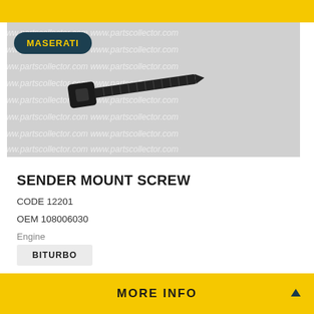[Figure (photo): A black socket head cap screw (Allen bolt) photographed against a light grey background with repeating 'partscollector.com' watermark text. A teal/dark green badge with 'MASERATI' in yellow text is overlaid in the top-left corner of the image.]
SENDER MOUNT SCREW
CODE 12201
OEM 108006030
Engine
BITURBO
MORE INFO